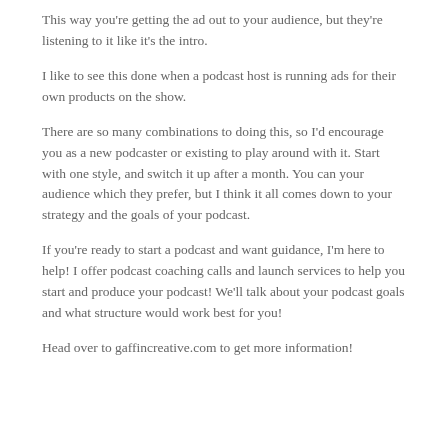This way you're getting the ad out to your audience, but they're listening to it like it's the intro.
I like to see this done when a podcast host is running ads for their own products on the show.
There are so many combinations to doing this, so I'd encourage you as a new podcaster or existing to play around with it. Start with one style, and switch it up after a month. You can your audience which they prefer, but I think it all comes down to your strategy and the goals of your podcast.
If you're ready to start a podcast and want guidance, I'm here to help! I offer podcast coaching calls and launch services to help you start and produce your podcast! We'll talk about your podcast goals and what structure would work best for you!
Head over to gaffincreative.com to get more information!